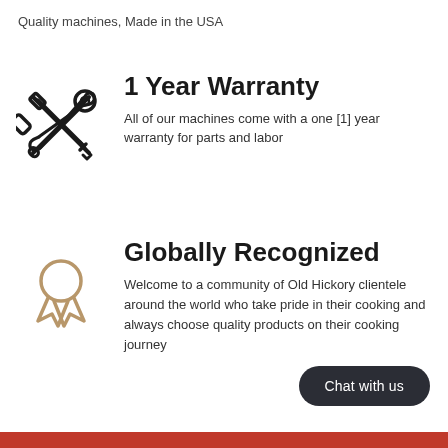Quality machines, Made in the USA
[Figure (illustration): Crossed screwdriver and wrench tools icon (warranty/repair symbol), black outline style]
1 Year Warranty
All of our machines come with a one [1] year warranty for parts and labor
[Figure (illustration): Award ribbon / medal icon in tan/brown outline style, representing global recognition]
Globally Recognized
Welcome to a community of Old Hickory clientele around the world who take pride in their cooking and always choose quality products on their cooking journey
Chat with us